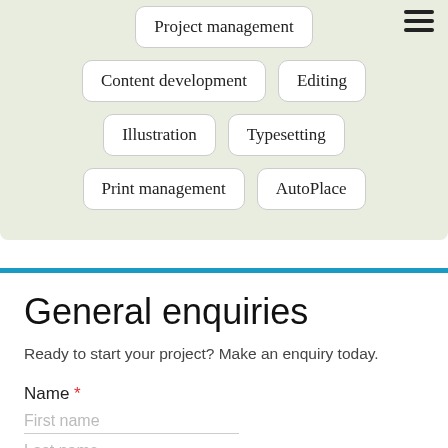Project management
Content development
Editing
Illustration
Typesetting
Print management
AutoPlace
General enquiries
Ready to start your project? Make an enquiry today.
Name *
First name
Last name